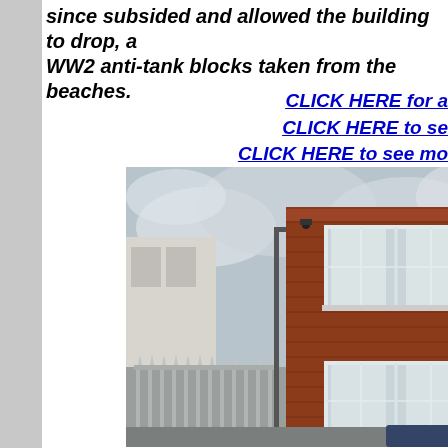since subsided and allowed the building to drop, a… WW2 anti-tank blocks taken from the beaches.
CLICK HERE for a… CLICK HERE to se… CLICK HERE to see mo…
[Figure (photo): Photograph of a leaning red-brick building viewed from street level, showing two floors with white-framed windows, a metal security fence in the foreground, a lamppost, and overcast sky in the background.]